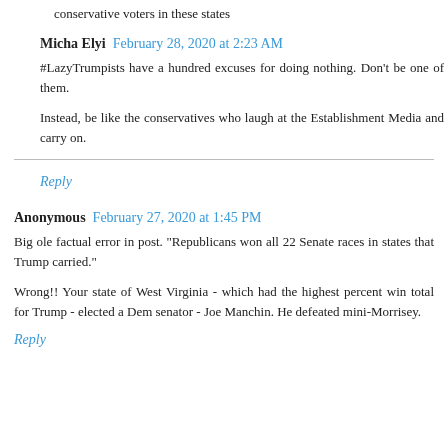conservative voters in these states
Micha Elyi  February 28, 2020 at 2:23 AM
#LazyTrumpists have a hundred excuses for doing nothing. Don't be one of them.

Instead, be like the conservatives who laugh at the Establishment Media and carry on.
Reply
Anonymous  February 27, 2020 at 1:45 PM
Big ole factual error in post. "Republicans won all 22 Senate races in states that Trump carried."

Wrong!! Your state of West Virginia - which had the highest percent win total for Trump - elected a Dem senator - Joe Manchin. He defeated mini-Morrisey.
Reply